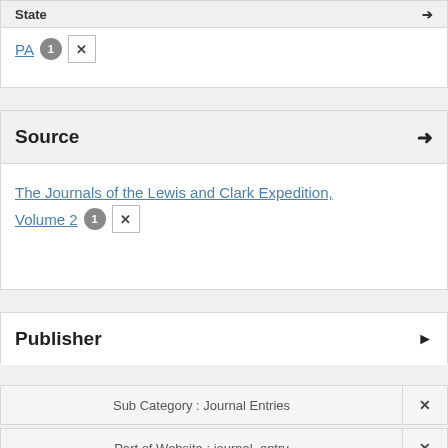State
PA  1  ✕
Source ▾
The Journals of the Lewis and Clark Expedition, Volume 2  1  ✕
Publisher ▸
Sub Category : Journal Entries  ✕
Part of Website : journal_entry  ✕